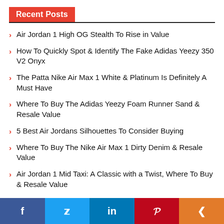Recent Posts
Air Jordan 1 High OG Stealth To Rise in Value
How To Quickly Spot & Identify The Fake Adidas Yeezy 350 V2 Onyx
The Patta Nike Air Max 1 White & Platinum Is Definitely A Must Have
Where To Buy The Adidas Yeezy Foam Runner Sand & Resale Value
5 Best Air Jordans Silhouettes To Consider Buying
Where To Buy The Nike Air Max 1 Dirty Denim & Resale Value
Air Jordan 1 Mid Taxi: A Classic with a Twist, Where To Buy & Resale Value
Don't … For Buy…